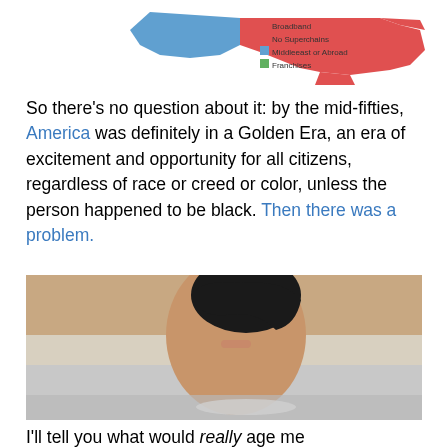[Figure (map): US map showing regional data with color legend: Broadband (red), No Superchains (red outline), Middleeast or Abroad (blue), Franchises (green)]
So there's no question about it: by the mid-fifties, America was definitely in a Golden Era, an era of excitement and opportunity for all citizens, regardless of race or creed or color, unless the person happened to be black. Then there was a problem.
[Figure (photo): Shirtless young man with dark wet hair leaning forward near water at a beach]
I'll tell you what would really age me